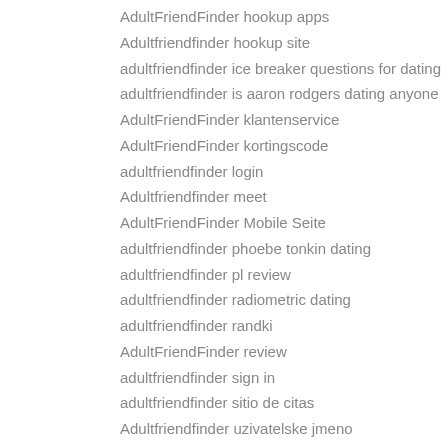AdultFriendFinder hookup apps
Adultfriendfinder hookup site
adultfriendfinder ice breaker questions for dating
adultfriendfinder is aaron rodgers dating anyone
AdultFriendFinder klantenservice
AdultFriendFinder kortingscode
adultfriendfinder login
Adultfriendfinder meet
AdultFriendFinder Mobile Seite
adultfriendfinder phoebe tonkin dating
adultfriendfinder pl review
adultfriendfinder radiometric dating
adultfriendfinder randki
AdultFriendFinder review
adultfriendfinder sign in
adultfriendfinder sitio de citas
Adultfriendfinder uzivatelske jmeno